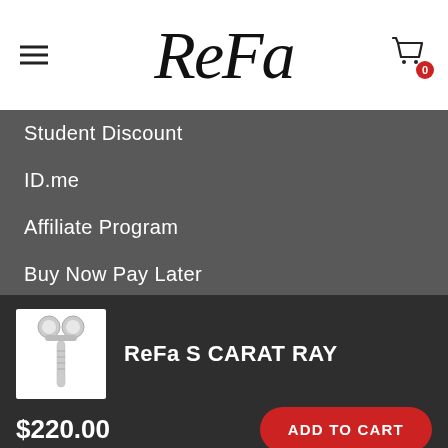ReFa
Student Discount
ID.me
Affiliate Program
Buy Now Pay Later
eSSENTIAL Accessibility
[Figure (photo): ReFa S CARAT RAY beauty roller device in silver/chrome]
ReFa S CARAT RAY
$220.00
ADD TO CART